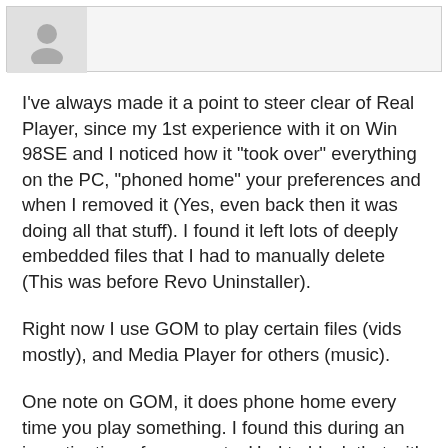[Figure (illustration): User avatar placeholder icon showing a generic person silhouette in a gray box]
I've always made it a point to steer clear of Real Player, since my 1st experience with it on Win 98SE and I noticed how it "took over" everything on the PC, "phoned home" your preferences and when I removed it (Yes, even back then it was doing all that stuff). I found it left lots of deeply embedded files that I had to manually delete (This was before Revo Uninstaller).
Right now I use GOM to play certain files (vids mostly), and Media Player for others (music).
One note on GOM, it does phone home every time you play something. I found this during an investigation of open ports. Had to block that with the firewall.
I have been considering giving VLC a spin.